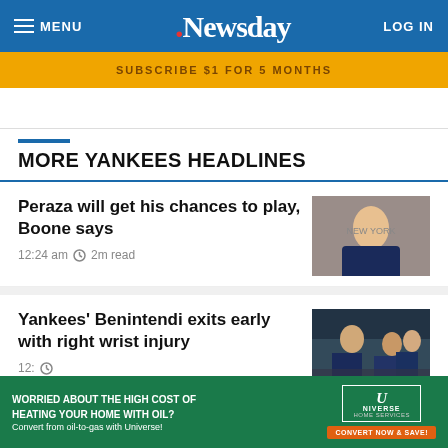MENU | Newsday | LOG IN
SUBSCRIBE $1 FOR 5 MONTHS
MORE YANKEES HEADLINES
Peraza will get his chances to play, Boone says
12:24 am  2m read
[Figure (photo): Baseball player wearing New York Yankees uniform, pitching or throwing]
Yankees' Benintendi exits early with right wrist injury
12:...
[Figure (photo): Yankees players in dugout or field]
WORRIED ABOUT THE HIGH COST OF HEATING YOUR HOME WITH OIL? Convert from oil-to-gas with Universe!
[Figure (logo): Universe Home Services logo with Convert Now & Save button]